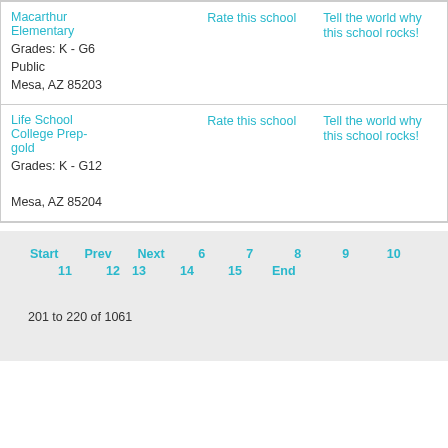| School | Rate | Tell the world |
| --- | --- | --- |
| Macarthur Elementary
Grades: K - G6
Public
Mesa, AZ 85203 | Rate this school | Tell the world why this school rocks! |
| Life School College Prep-gold
Grades: K - G12
Mesa, AZ 85204 | Rate this school | Tell the world why this school rocks! |
Start  Prev  Next  6  7  8  9  10  11  12  13  14  15  End
201 to 220 of 1061